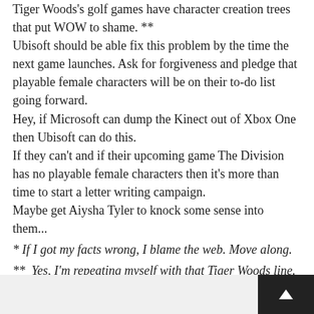Tiger Woods's golf games have character creation trees that put WOW to shame. ** Ubisoft should be able fix this problem by the time the next game launches. Ask for forgiveness and pledge that playable female characters will be on their to-do list going forward. Hey, if Microsoft can dump the Kinect out of Xbox One then Ubisoft can do this. If they can't and if their upcoming game The Division has no playable female characters then it's more than time to start a letter writing campaign. Maybe get Aiysha Tyler to knock some sense into them...
* If I got my facts wrong, I blame the web. Move along.
**  Yes, I'm repeating myself with that Tiger Woods line.